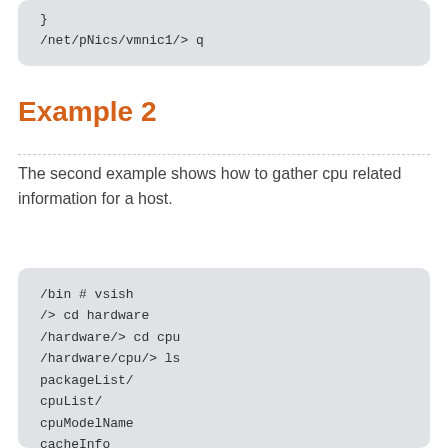}
/net/pNics/vmnic1/> q
Example 2
The second example shows how to gather cpu related information for a host.
/bin # vsish
/> cd hardware
/hardware/> cd cpu
/hardware/cpu/> ls
packageList/
cpuList/
cpuModelName
cacheInfo
cpuInfo